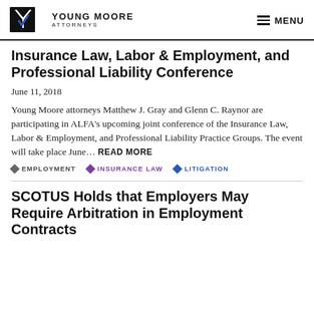Young Moore Attorneys | MENU
Insurance Law, Labor & Employment, and Professional Liability Conference
June 11, 2018
Young Moore attorneys Matthew J. Gray and Glenn C. Raynor are participating in ALFA's upcoming joint conference of the Insurance Law, Labor & Employment, and Professional Liability Practice Groups. The event will take place June... READ MORE
EMPLOYMENT  INSURANCE LAW  LITIGATION
SCOTUS Holds that Employers May Require Arbitration in Employment Contracts